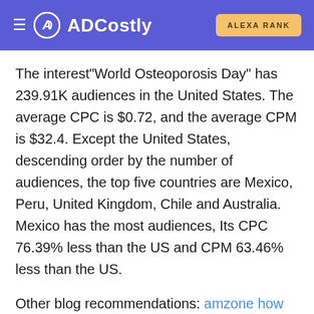ADCostly | ALEXA RANK
The interest"World Osteoporosis Day" has 239.91K audiences in the United States. The average CPC is $0.72, and the average CPM is $32.4. Except the United States, descending order by the number of audiences, the top five countries are Mexico, Peru, United Kingdom, Chile and Australia. Mexico has the most audiences, Its CPC 76.39% less than the US and CPM 63.46% less than the US.
Other blog recommendations: amzone how much do facebook ads cost